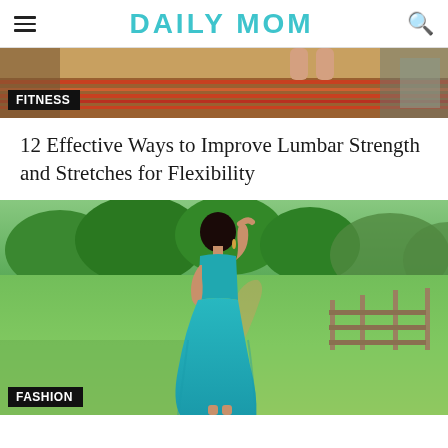DAILY MOM
[Figure (photo): Fitness article top banner image showing a yoga/exercise scene on a colorful rug with a FITNESS category label]
12 Effective Ways to Improve Lumbar Strength and Stretches for Flexibility
[Figure (photo): A pregnant woman in a teal maxi dress standing on a green grass field near a wooden fence, with trees in the background and a FASHION category label at the bottom left]